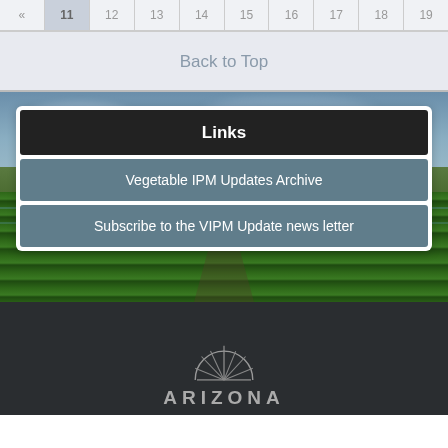« 11 12 13 14 15 16 17 18 19
Back to Top
Links
Vegetable IPM Updates Archive
Subscribe to the VIPM Update news letter
[Figure (photo): Aerial view of agricultural vegetable field rows with irrigation, green crops under overcast sky]
ARIZONA